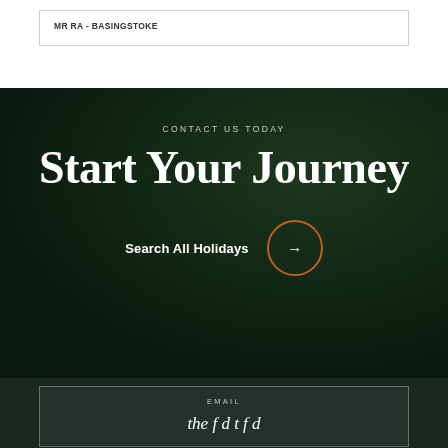MR RA - BASINGSTOKE
CONTACT US TODAY
Start Your Journey
Search All Holidays →
EMAIL
the f d t f d